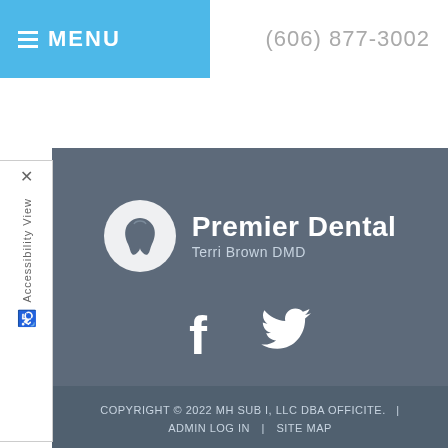MENU | (606) 877-3002
[Figure (logo): Premier Dental logo with tooth icon in a circle, text 'Premier Dental' and 'Terri Brown DMD']
[Figure (infographic): Facebook and Twitter social media icons in white]
COPYRIGHT © 2022 MH SUB I, LLC DBA OFFICITE. | ADMIN LOG IN | SITE MAP